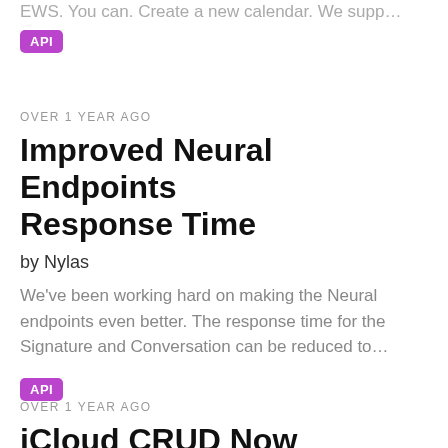EWS. You can. Create a new calendar. We supp…
API
OVER 1 YEAR AGO
Improved Neural Endpoints Response Time
by Nylas
We've been working hard on making the Neural endpoints even better. The response time for the Signature and Conversation can be reduced to…
API
OVER 1 YEAR AGO
iCloud CRUD Now Supported
by Nylas